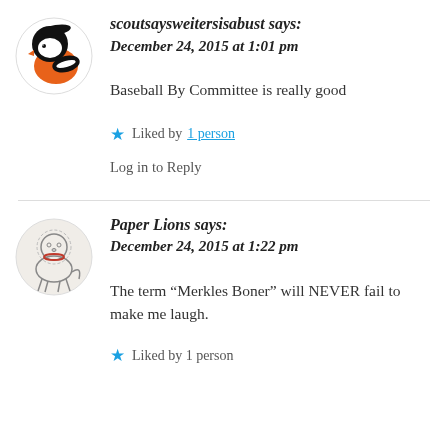scoutsaysweitersisabust says: December 24, 2015 at 1:01 pm
Baseball By Committee is really good
Liked by 1 person
Log in to Reply
Paper Lions says: December 24, 2015 at 1:22 pm
The term “Merkles Boner” will NEVER fail to make me laugh.
Liked by 1 person